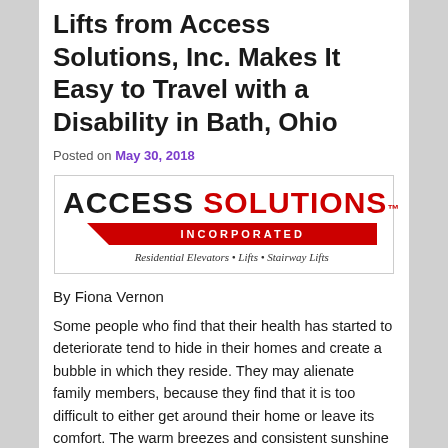Lifts from Access Solutions, Inc. Makes It Easy to Travel with a Disability in Bath, Ohio
Posted on May 30, 2018
[Figure (logo): Access Solutions Incorporated logo with red bar, tagline: Residential Elevators • Lifts • Stairway Lifts]
By Fiona Vernon
Some people who find that their health has started to deteriorate tend to hide in their homes and create a bubble in which they reside. They may alienate family members, because they find that it is too difficult to either get around their home or leave its comfort. The warm breezes and consistent sunshine of spring makes people long for the outdoors, and Access Solutions, Inc. can